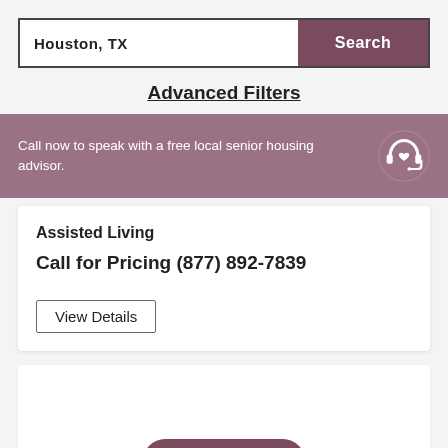Houston, TX
Search
Advanced Filters
Call now to speak with a free local senior housing advisor.
Assisted Living
Call for Pricing (877) 892-7839
View Details
[Figure (other): View map button with map icon on a light gray background card]
view map